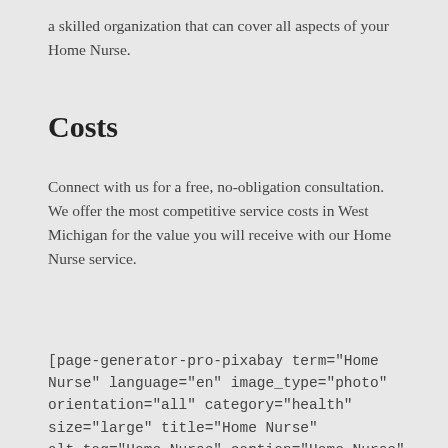a skilled organization that can cover all aspects of your Home Nurse.
Costs
Connect with us for a free, no-obligation consultation. We offer the most competitive service costs in West Michigan for the value you will receive with our Home Nurse service.
[page-generator-pro-pixabay term="Home Nurse" language="en" image_type="photo" orientation="all" category="health" size="large" title="Home Nurse" alt_tag="Home Nurse" caption="Home Nurse" description="Home Nurse" link_target="_self" exif_latitude="42.784760"